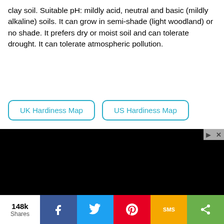clay soil. Suitable pH: mildly acid, neutral and basic (mildly alkaline) soils. It can grow in semi-shade (light woodland) or no shade. It prefers dry or moist soil and can tolerate drought. It can tolerate atmospheric pollution.
UK Hardiness Map | US Hardiness Map
[Figure (other): Black advertisement banner with play/close controls in top-right corner]
[Figure (photo): Man in a grey suit standing, fashion advertisement]
148k Shares — social share bar with Facebook, Twitter, Pinterest, SMS, and share icons